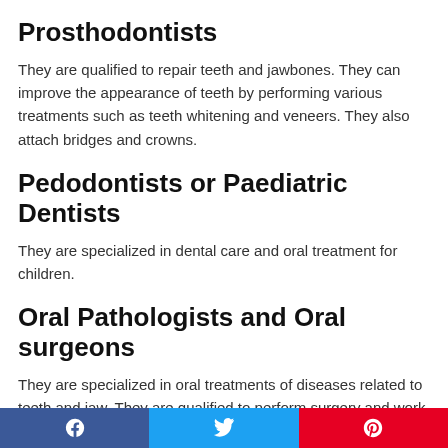Prosthodontists
They are qualified to repair teeth and jawbones. They can improve the appearance of teeth by performing various treatments such as teeth whitening and veneers. They also attach bridges and crowns.
Pedodontists or Paediatric Dentists
They are specialized in dental care and oral treatment for children.
Oral Pathologists and Oral surgeons
They are specialized in oral treatments of diseases related to teeth and jaw. They are qualified to perform surgery and work
Facebook  Twitter  Pinterest